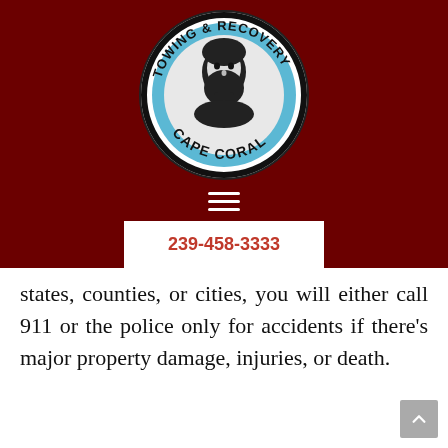[Figure (logo): Cape Coral Towing & Recovery circular logo with a bearded man's portrait on blue background, surrounded by text 'TOWING & RECOVERY' at top and 'CAPE CORAL' at bottom]
239-458-3333
states, counties, or cities, you will either call 911 or the police only for accidents if there's major property damage, injuries, or death.